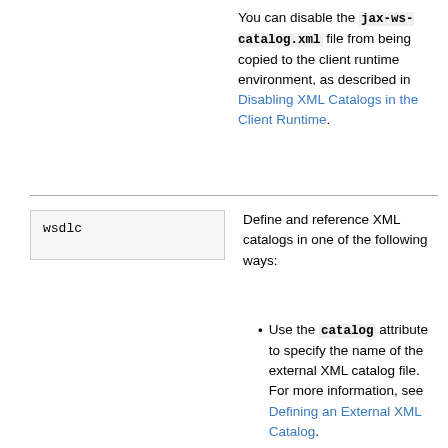You can disable the jax-ws-catalog.xml file from being copied to the client runtime environment, as described in Disabling XML Catalogs in the Client Runtime.
| Tool | Description |
| --- | --- |
| wsdlc | Define and reference XML catalogs in one of the following ways: |
Use the catalog attribute to specify the name of the external XML catalog file. For more information, see Defining an External XML Catalog.